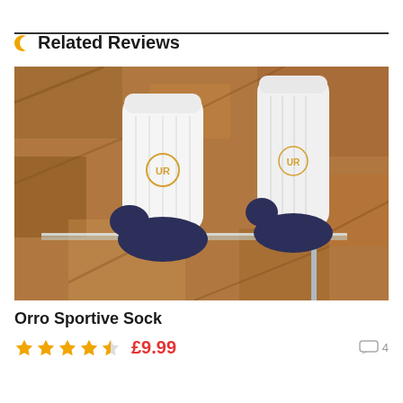Related Reviews
[Figure (photo): Product photo of Orro Sportive Socks — white cycling socks with dark navy toe and heel caps, displayed on feet against an OSB wood board background with a glass shelf.]
Orro Sportive Sock
★★★★½ £9.99  4